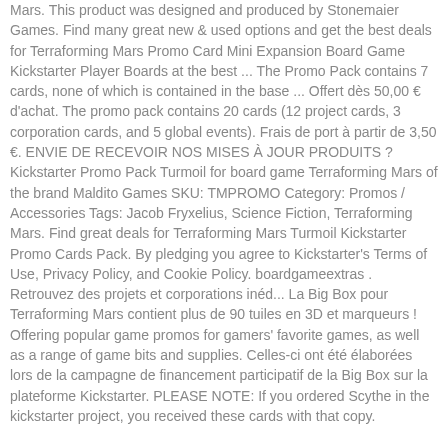Mars. This product was designed and produced by Stonemaier Games. Find many great new & used options and get the best deals for Terraforming Mars Promo Card Mini Expansion Board Game Kickstarter Player Boards at the best ... The Promo Pack contains 7 cards, none of which is contained in the base ... Offert dès 50,00 € d'achat. The promo pack contains 20 cards (12 project cards, 3 corporation cards, and 5 global events). Frais de port à partir de 3,50 €. ENVIE DE RECEVOIR NOS MISES À JOUR PRODUITS ? Kickstarter Promo Pack Turmoil for board game Terraforming Mars of the brand Maldito Games SKU: TMPROMO Category: Promos / Accessories Tags: Jacob Fryxelius, Science Fiction, Terraforming Mars. Find great deals for Terraforming Mars Turmoil Kickstarter Promo Cards Pack. By pledging you agree to Kickstarter's Terms of Use, Privacy Policy, and Cookie Policy. boardgameextras . Retrouvez des projets et corporations inéd... La Big Box pour Terraforming Mars contient plus de 90 tuiles en 3D et marqueurs ! Offering popular game promos for gamers' favorite games, as well as a range of game bits and supplies. Celles-ci ont été élaborées lors de la campagne de financement participatif de la Big Box sur la plateforme Kickstarter. PLEASE NOTE: If you ordered Scythe in the kickstarter project, you received these cards with that copy. Terraforming Mars Promo Pack According to a product description in this